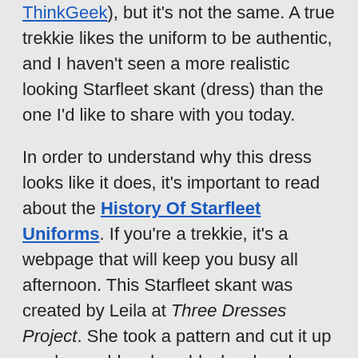ThinkGeek), but it's not the same. A true trekkie likes the uniform to be authentic, and I haven't seen a more realistic looking Starfleet skant (dress) than the one I'd like to share with you today.
In order to understand why this dress looks like it does, it's important to read about the History Of Starfleet Uniforms. If you're a trekkie, it's a webpage that will keep you busy all afternoon. This Starfleet skant was created by Leila at Three Dresses Project. She took a pattern and cut it up so she could make a block colored dress. She also made some modifications to the actual Starfleet uniform (like she omitted the zipper, etc.).
If you know how to sew, or if you need a project like this to inspire you to try sewing, you can click over to her post called Star Trek: TNG Skant Tutorial for the detailed